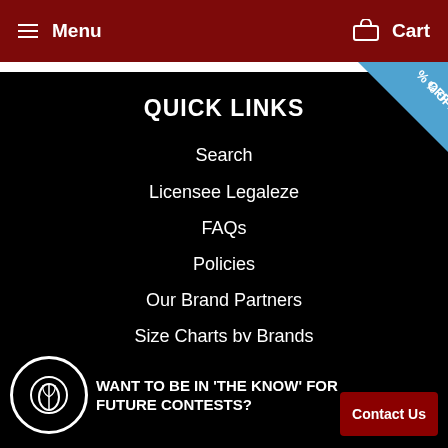Menu   Cart
[Figure (infographic): Blue diagonal corner ribbon with '% OFF' text in white]
QUICK LINKS
Search
Licensee Legaleze
FAQs
Policies
Our Brand Partners
Size Charts by Brands
Do not sell my personal information
Etsy Family Shop
WANT TO BE IN 'THE KNOW' FOR FUTURE CONTESTS?
Contact Us